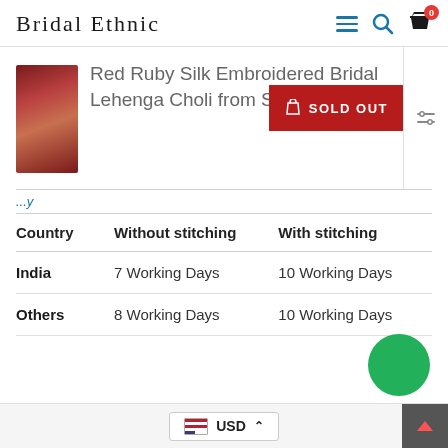BRIDAL ETHNIC
Red Ruby Silk Embroidered Bridal Lehenga Choli from Sabyasachi Designs
SOLD OUT
| Country | Without stitching | With stitching |
| --- | --- | --- |
| India | 7 Working Days | 10 Working Days |
| Others | 8 Working Days | 10 Working Days |
USD